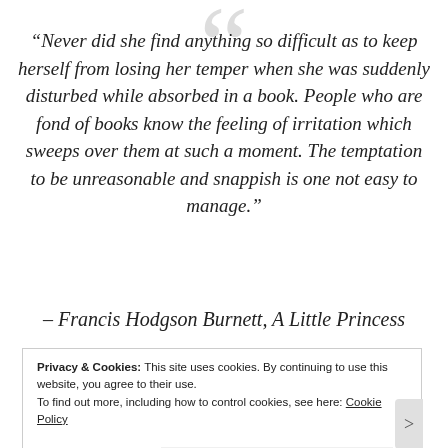“Never did she find anything so difficult as to keep herself from losing her temper when she was suddenly disturbed while absorbed in a book. People who are fond of books know the feeling of irritation which sweeps over them at such a moment. The temptation to be unreasonable and snappish is one not easy to manage.”
– Francis Hodgson Burnett, A Little Princess
Privacy & Cookies: This site uses cookies. By continuing to use this website, you agree to their use.
To find out more, including how to control cookies, see here: Cookie Policy
Close and accept
Advertisements